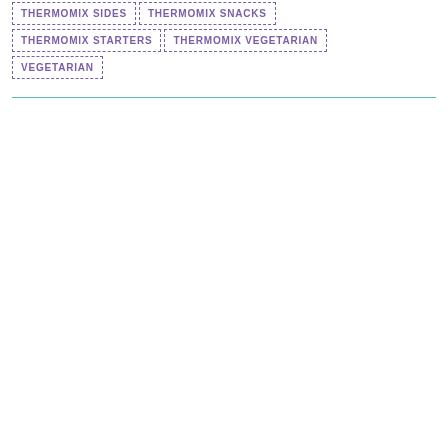THERMOMIX SIDES
THERMOMIX SNACKS
THERMOMIX STARTERS
THERMOMIX VEGETARIAN
VEGETARIAN